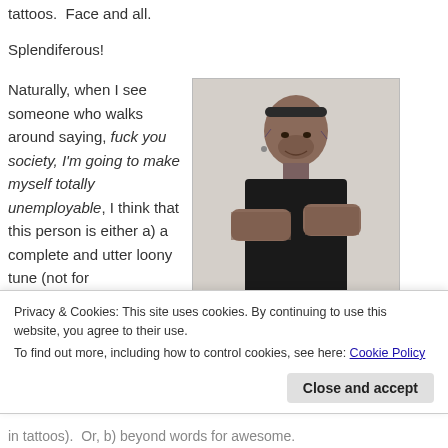tattoos.  Face and all.
Splendiferous!
Naturally, when I see someone who walks around saying, fuck you society, I'm going to make myself totally unemployable, I think that this person is either a) a complete and utter loony tune (not for
[Figure (photo): Man with face tattoos wearing black t-shirt, arms crossed, smiling, wearing a headband]
Privacy & Cookies: This site uses cookies. By continuing to use this website, you agree to their use.
To find out more, including how to control cookies, see here: Cookie Policy
in tattoos).  Or, b) beyond words for awesome.